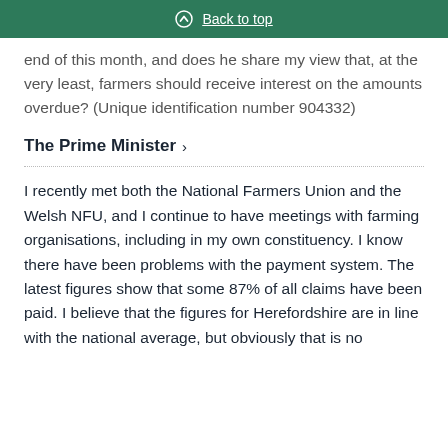Back to top
end of this month, and does he share my view that, at the very least, farmers should receive interest on the amounts overdue? (Unique identification number 904332)
The Prime Minister
I recently met both the National Farmers Union and the Welsh NFU, and I continue to have meetings with farming organisations, including in my own constituency. I know there have been problems with the payment system. The latest figures show that some 87% of all claims have been paid. I believe that the figures for Herefordshire are in line with the national average, but obviously that is no